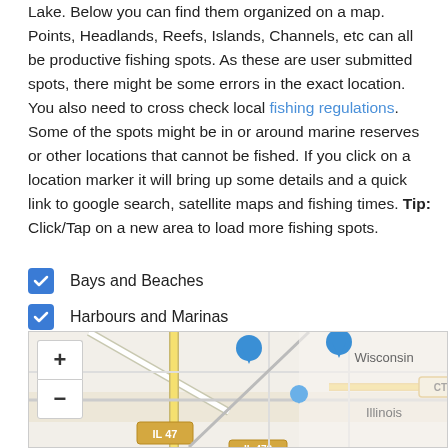Lake. Below you can find them organized on a map. Points, Headlands, Reefs, Islands, Channels, etc can all be productive fishing spots. As these are user submitted spots, there might be some errors in the exact location. You also need to cross check local fishing regulations. Some of the spots might be in or around marine reserves or other locations that cannot be fished. If you click on a location marker it will bring up some details and a quick link to google search, satellite maps and fishing times. Tip: Click/Tap on a new area to load more fishing spots.
Bays and Beaches
Harbours and Marinas
Wharfs/Jetties
Points, Reefs, Channels, Islands, etc
[Figure (map): OpenStreetMap showing area near Illinois/Wisconsin border with road labels IL 47, CTH H, IL 472, blue location markers, zoom controls (+ and -), and state labels for Wisconsin and Illinois.]